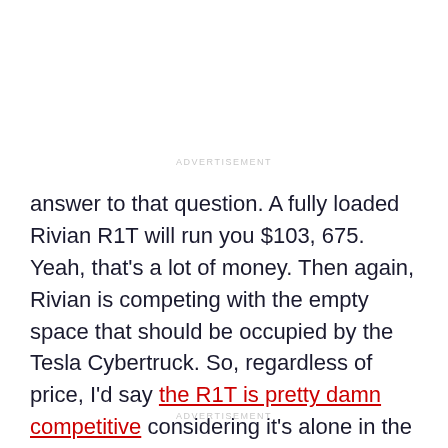ADVERTISEMENT
answer to that question. A fully loaded Rivian R1T will run you $103, 675. Yeah, that's a lot of money. Then again, Rivian is competing with the empty space that should be occupied by the Tesla Cybertruck. So, regardless of price, I'd say the R1T is pretty damn competitive considering it's alone in the luxury electric truck segment.
ADVERTISEMENT